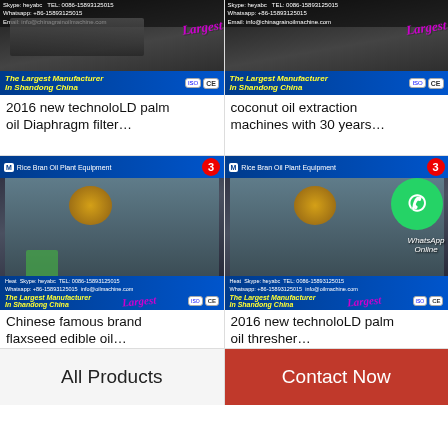[Figure (photo): Product image of palm oil diaphragm filter machine with 'The Largest Manufacturer In Shandong China' branding, ISO and CE marks]
2016 new technoloLD palm oil Diaphragm filter…
[Figure (photo): Product image of coconut oil extraction machine with 'The Largest Manufacturer In Shandong China' branding, ISO and CE marks]
coconut oil extraction machines with 30 years…
[Figure (photo): Product image of Rice Bran Oil Plant Equipment, Chinese famous brand flaxseed edible oil machine, with Largest badge and number 3]
Chinese famous brand flaxseed edible oil…
[Figure (photo): Product image of Rice Bran Oil Plant Equipment, 2016 new technoloLD palm oil thresher, with WhatsApp Online overlay and number 3]
2016 new technoloLD palm oil thresher…
All Products
Contact Now